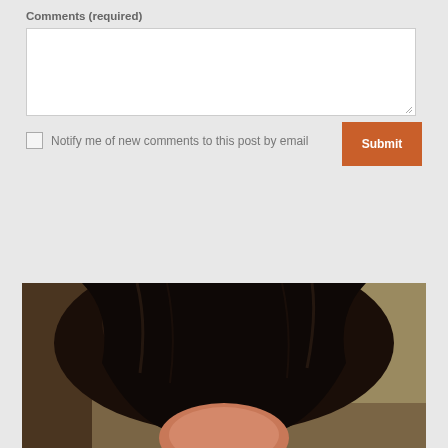Comments (required)
Notify me of new comments to this post by email
Submit
[Figure (photo): Photo of a person with dark brown hair, partial face visible from top of head, warm indoor lighting with brown/tan wall background]